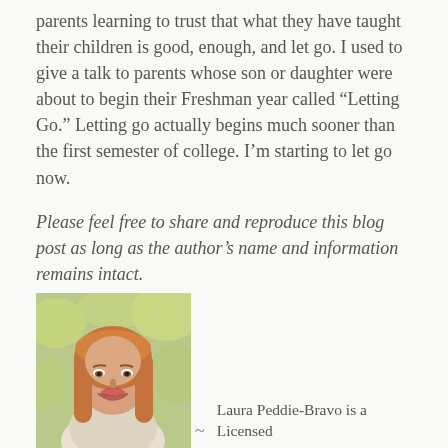parents learning to trust that what they have taught their children is good, enough, and let go. I used to give a talk to parents whose son or daughter were about to begin their Freshman year called “Letting Go.” Letting go actually begins much sooner than the first semester of college. I’m starting to let go now.
Please feel free to share and reproduce this blog post as long as the author’s name and information remains intact.
[Figure (photo): Headshot photo of Laura Peddie-Bravo, a woman with long reddish-blonde hair, smiling, wearing a light-colored blazer, with an outdoor background.]
~ Laura Peddie-Bravo is a Licensed